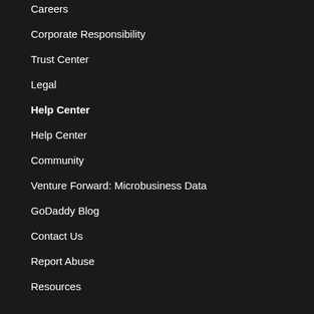Careers
Corporate Responsibility
Trust Center
Legal
Help Center
Help Center
Community
Venture Forward: Microbusiness Data
GoDaddy Blog
Contact Us
Report Abuse
Resources